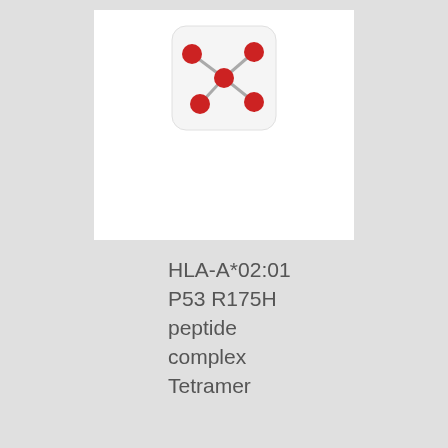[Figure (logo): Network/tetramer logo icon: red dots connected by gray lines on white rounded-rectangle background]
HLA-A*02:01 P53 R175H peptide complex Tetramer
$350.00 – $2,800.00
Select options   Details